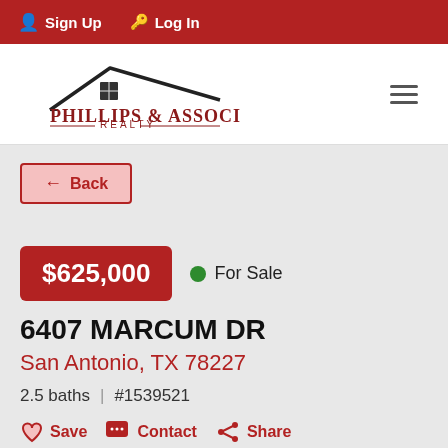Sign Up | Log In
[Figure (logo): Phillips & Associates Realty logo with house roofline graphic]
← Back
$625,000   ● For Sale
6407 MARCUM DR
San Antonio, TX 78227
2.5 baths  |  #1539521
Save   Contact   Share
Price Change Alerts